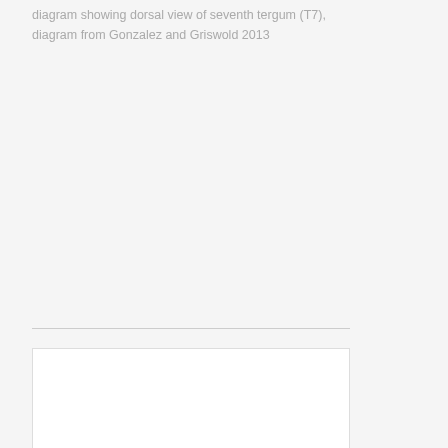diagram showing dorsal view of seventh tergum (T7), diagram from Gonzalez and Griswold 2013
[Figure (illustration): White rectangle with a small triangle shape visible at the bottom left, representing a scientific diagram placeholder for Anthidium sonorense male ventral view of sixth sternum (S6)]
Anthidium sonorense male, diagram showing ventral view of sixth sternum (S6), diagram from Gonzalez and Griswold 2013